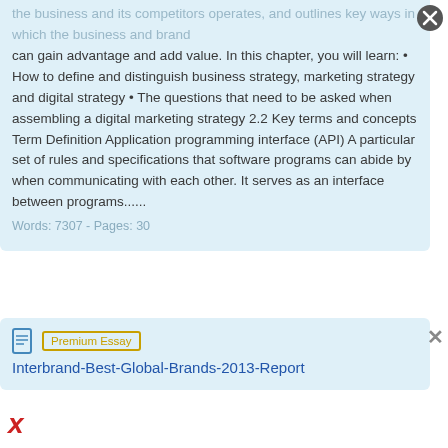the business and its competitors operates, and outlines key ways in which the business and brand can gain advantage and add value. In this chapter, you will learn: • How to define and distinguish business strategy, marketing strategy and digital strategy • The questions that need to be asked when assembling a digital marketing strategy 2.2 Key terms and concepts Term Definition Application programming interface (API) A particular set of rules and specifications that software programs can abide by when communicating with each other. It serves as an interface between programs......
Words: 7307 - Pages: 30
Premium Essay  Interbrand-Best-Global-Brands-2013-Report